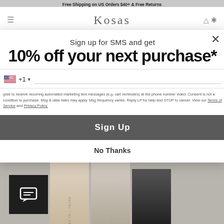Free Shipping on US Orders $40+ & Free Returns
[Figure (screenshot): Kosas website navigation with logo, hamburger menu, and cart icon]
Shop All   New   Bestsellers   Starter Sets   Try at Home   Face
Sign up for SMS and get
10% off your next purchase*
+1 ▾
I agree to receive recurring automated marketing text messages (e.g. cart reminders) at the phone number provided. Consent is not a condition to purchase. Msg & data rates may apply. Msg frequency varies. Reply HELP for help and STOP to cancel. View our Terms of Service and Privacy Policy.
Sign Up
No Thanks